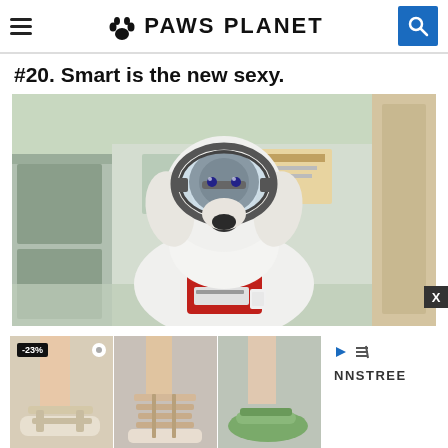PAWS PLANET
#20. Smart is the new sexy.
[Figure (photo): A fluffy white dog wearing large clear safety goggles and a red service dog vest, standing in a hospital or lab hallway.]
[Figure (photo): Advertisement showing three pairs of shoes/sandals with -23% badge, branded NNSTREE]